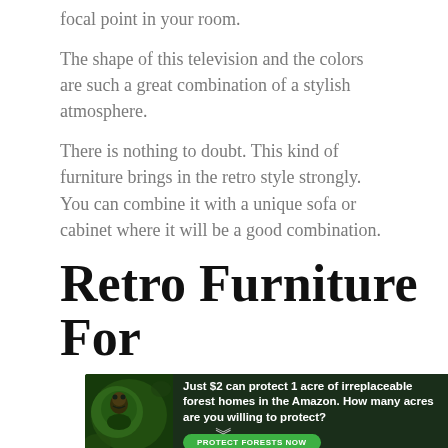focal point in your room.
The shape of this television and the colors are such a great combination of a stylish atmosphere.
There is nothing to doubt. This kind of furniture brings in the retro style strongly. You can combine it with a unique sofa or cabinet where it will be a good combination.
Retro Furniture For
[Figure (other): Advertisement banner: dark green forest background with orangutan image on left, white bold text reading 'Just $2 can protect 1 acre of irreplaceable forest homes in the Amazon. How many acres are you willing to protect?' and a green 'PROTECT FORESTS NOW' button.]